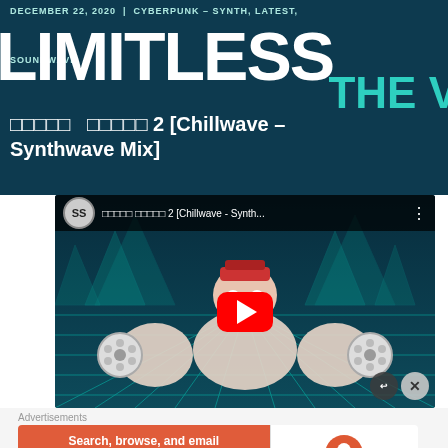DECEMBER 22, 2020 | CYBERPUNK – SYNTH, LATEST, SOUNDWAVE
LIMITLESS
THE V
?????? ?????? 2 [Chillwave – Synthwave Mix]
[Figure (screenshot): YouTube video thumbnail embedded in webpage showing animated robot character in cyberpunk teal grid background, with YouTube play button overlay. Video title: ?????? ?????? 2 [Chillwave - Synth...]
Advertisements
[Figure (infographic): DuckDuckGo advertisement banner: 'Search, browse, and email with more privacy. All in One Free App' with DuckDuckGo logo on orange/red background]